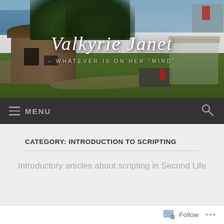[Figure (screenshot): Website header with a 3D rendered landscape scene (Second Life virtual world) showing a building with rounded roof, trees, a path, and a vehicle. Overlaid with the blog title 'Valkyrie Janet' in cursive white text and the tagline '– WHATEVER IS ON HER "MIND"' in small caps.]
Valkyrie Janet
– WHATEVER IS ON HER "MIND"
MENU
CATEGORY: INTRODUCTION TO SCRIPTING
Introductory articles about scripting in Second Life
Follow ...